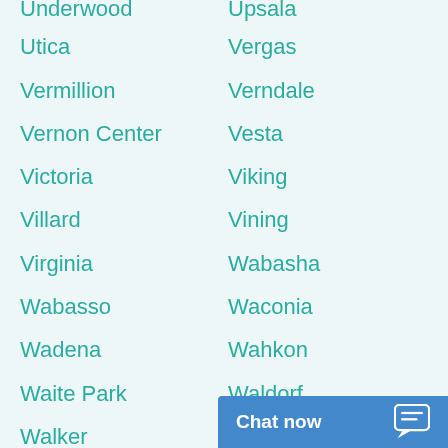Utica
Vergas
Vermillion
Verndale
Vernon Center
Vesta
Victoria
Viking
Villard
Vining
Virginia
Wabasha
Wabasso
Waconia
Wadena
Wahkon
Waite Park
Waldorf
Walker
Walnut Grove
Waltham
Wanamingo
Wanda
Wannaska
Warba